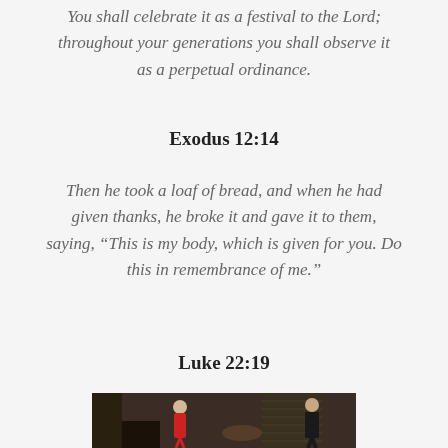You shall celebrate it as a festival to the Lord; throughout your generations you shall observe it as a perpetual ordinance.
Exodus 12:14
Then he took a loaf of bread, and when he had given thanks, he broke it and gave it to them, saying, “This is my body, which is given for you. Do this in remembrance of me.”
Luke 22:19
[Figure (photo): Indoor scene with a woman in a red dress standing near a piano, and a man in a dark suit facing away, in a dimly lit room with curtains and blinds.]